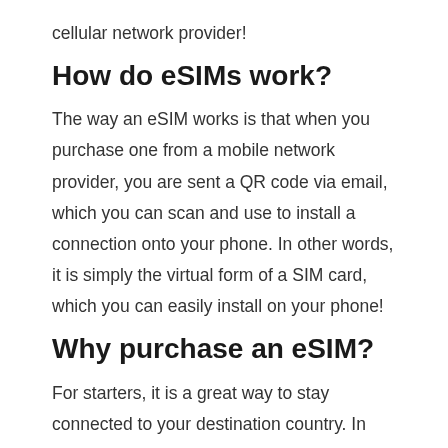cellular network provider!
How do eSIMs work?
The way an eSIM works is that when you purchase one from a mobile network provider, you are sent a QR code via email, which you can scan and use to install a connection onto your phone. In other words, it is simply the virtual form of a SIM card, which you can easily install on your phone!
Why purchase an eSIM?
For starters, it is a great way to stay connected to your destination country. In this case, purchasing